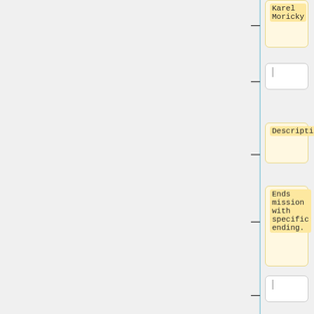Karel
Moricky
Description:
Ends mission with specific ending.
{{Color|Dark Cyan|Parameter(s):
0
(Optional):